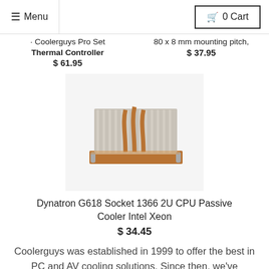≡ Menu | 0 Cart
· Coolerguys Pro Set Thermal Controller $ 61.95
80 x 8 mm mounting pitch, $ 37.95
[Figure (photo): Dynatron G618 Socket 1366 2U CPU Passive Cooler with copper heat pipes on aluminum heatsink]
Dynatron G618 Socket 1366 2U CPU Passive Cooler Intel Xeon
$ 34.45
Coolerguys was established in 1999 to offer the best in PC and AV cooling solutions. Since then, we've branched out to provide customers with a wide selection of high-